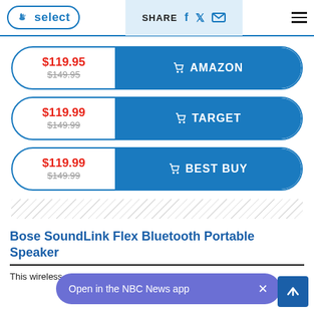NBC Select | SHARE
$119.95 / $149.95 — AMAZON
$119.99 / $149.99 — TARGET
$119.99 / $149.99 — BEST BUY
Bose SoundLink Flex Bluetooth Portable Speaker
This wireless portable speaker from Bose is water-resistant and...